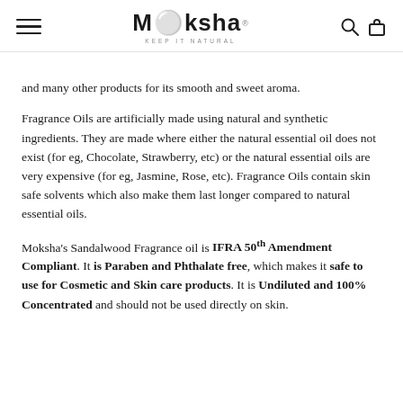Moksha — Keep It Natural (navigation header)
and many other products for its smooth and sweet aroma.
Fragrance Oils are artificially made using natural and synthetic ingredients. They are made where either the natural essential oil does not exist (for eg, Chocolate, Strawberry, etc) or the natural essential oils are very expensive (for eg, Jasmine, Rose, etc). Fragrance Oils contain skin safe solvents which also make them last longer compared to natural essential oils.
Moksha's Sandalwood Fragrance oil is IFRA 50th Amendment Compliant. It is Paraben and Phthalate free, which makes it safe to use for Cosmetic and Skin care products. It is Undiluted and 100% Concentrated and should not be used directly on skin.